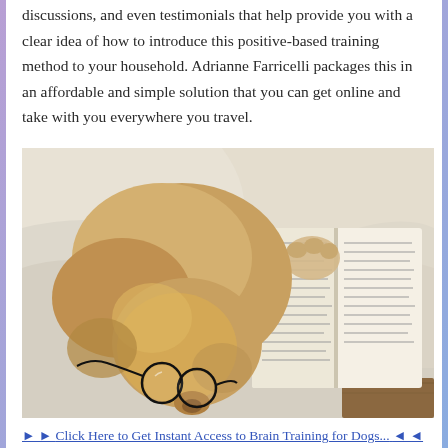discussions, and even testimonials that help provide you with a clear idea of how to introduce this positive-based training method to your household. Adrianne Farricelli packages this in an affordable and simple solution that you can get online and take with you everywhere you travel.
[Figure (photo): A golden/yellow Labrador dog lying on white bedding with reading glasses resting on its snout and an open book beside it.]
Click Here to Get Instant Access to Brain Training for Dogs...